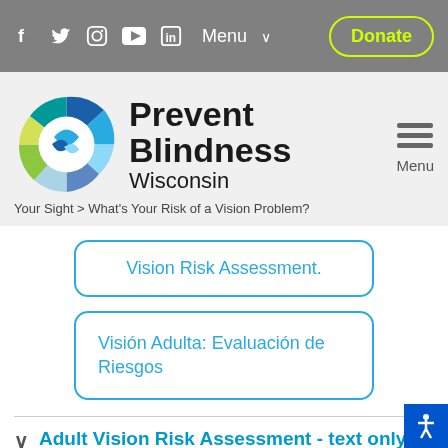f  🐦  📷  ▶  in  Menu ∨  Donate
[Figure (logo): Prevent Blindness Wisconsin circular logo with teal, blue, green, and light blue segments]
Prevent Blindness Wisconsin
Your Sight > What's Your Risk of a Vision Problem?
Vision Risk Assessment.
Visión Adulta: Evaluación de Riesgos
Adult Vision Risk Assessment - text only